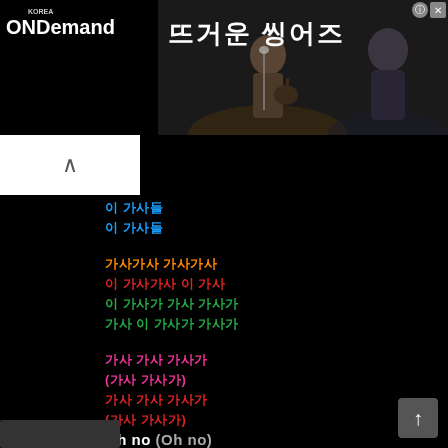[Figure (screenshot): ONDemand Korea banner advertisement featuring Korean singers performing on stage with Korean text '뜨거운 씽어즈']
이 가사들
이 가사들
가사가사 가사가사
이 가사가사 이 가사
이 가사가 가사 가사가
가사 이 가사가 가사가
가사 가사 가사가
(가사 가사가)
가사 가사 가사가
(가사 가사가)
Oh no (Oh no)
가사 가사 가사가
이 가사 가사가
가사 가사가 이